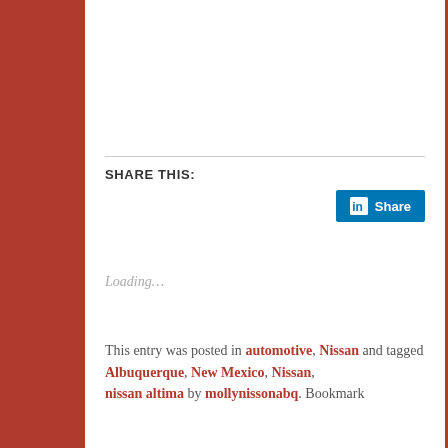SHARE THIS:
[Figure (other): LinkedIn Share button]
Loading…
This entry was posted in automotive, Nissan and tagged Albuquerque, New Mexico, Nissan, nissan altima by mollynissonabq. Bookmark